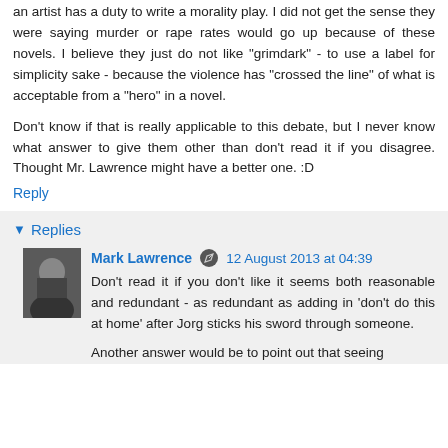an artist has a duty to write a morality play. I did not get the sense they were saying murder or rape rates would go up because of these novels. I believe they just do not like "grimdark" - to use a label for simplicity sake - because the violence has "crossed the line" of what is acceptable from a "hero" in a novel.
Don't know if that is really applicable to this debate, but I never know what answer to give them other than don't read it if you disagree. Thought Mr. Lawrence might have a better one. :D
Reply
Replies
Mark Lawrence  12 August 2013 at 04:39
Don't read it if you don't like it seems both reasonable and redundant - as redundant as adding in 'don't do this at home' after Jorg sticks his sword through someone.

Another answer would be to point out that seeing